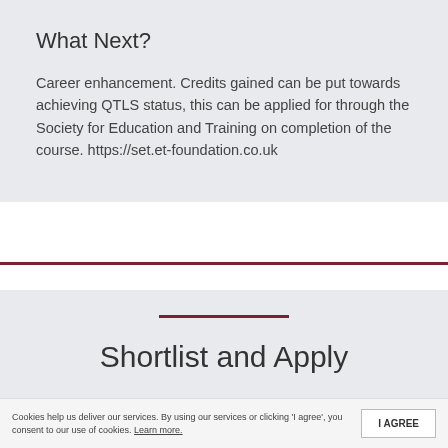What Next?
Career enhancement. Credits gained can be put towards achieving QTLS status, this can be applied for through the Society for Education and Training on completion of the course. https://set.et-foundation.co.uk
Shortlist and Apply
Cookies help us deliver our services. By using our services or clicking 'I agree', you consent to our use of cookies. Learn more.